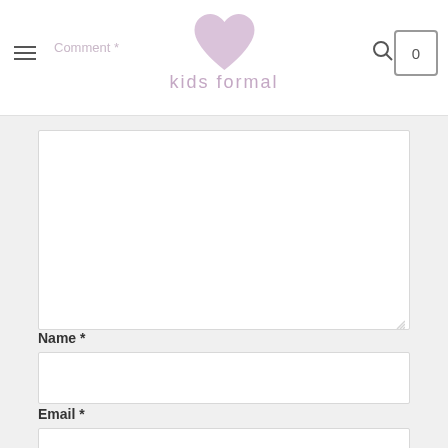kids formal — navigation header with hamburger menu, logo, search icon, and cart
Comment *
Name *
Email *
Website